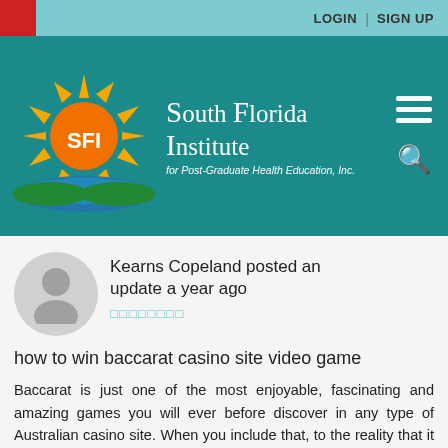LOGIN | SIGN UP
[Figure (logo): South Florida Institute for Post-Graduate Health Education, Inc. logo with sun graphic and SFI text]
Kearns Copeland posted an update a year ago
how to win baccarat casino site video game
Baccarat is just one of the most enjoyable, fascinating and amazing games you will ever before discover in any type of Australian casino site. When you include that, to the reality that it is likewise among the most basic games to play, taking on like Blackjack, you have the option of one mythical Australian gambling establishment game. So legendary